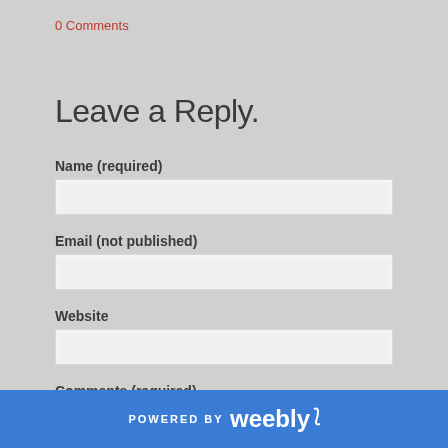0 Comments
Leave a Reply.
Name (required)
[Figure (screenshot): Name input field]
Email (not published)
[Figure (screenshot): Email input field]
Website
[Figure (screenshot): Website input field]
Comments (required)
[Figure (screenshot): Comments textarea]
POWERED BY weebly